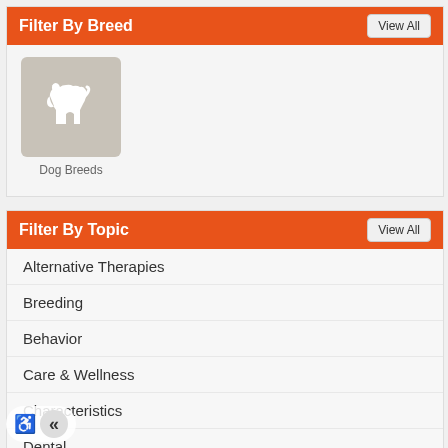Filter By Breed
[Figure (illustration): Dog breed placeholder icon — white dog silhouette on light tan/beige rounded square background, labeled 'Dog Breeds']
Dog Breeds
Filter By Topic
Alternative Therapies
Breeding
Behavior
Care & Wellness
Characteristics
Dental
Diagnosis
Emergency Situations
Infectious Diseases
Medications